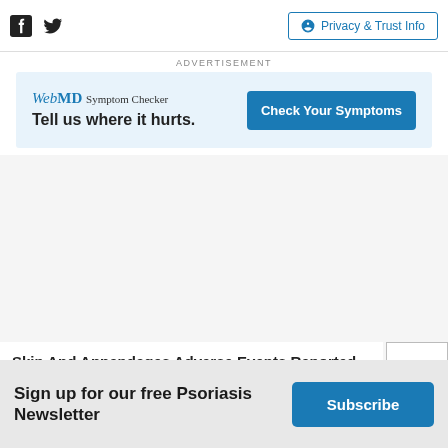Facebook Twitter Privacy & Trust Info
ADVERTISEMENT
[Figure (screenshot): WebMD Symptom Checker advertisement banner with text 'Tell us where it hurts.' and a blue 'Check Your Symptoms' button]
ADVERTISEMENT
Skin And Appendages Adverse Events Reported For Solaraze A...
Sign up for our free Psoriasis Newsletter
Subscribe